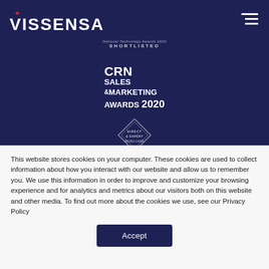[Figure (logo): Vissensa company logo in white text on dark navy background, with small red heart/diamond accent above the V]
[Figure (logo): National Technology Awards 2020 Shortlisted badge with dots decoration]
[Figure (logo): CRN Sales & Marketing Awards 2020 logo in white text on navy background]
[Figure (logo): Diamond-shaped badge/seal on navy background]
This website stores cookies on your computer. These cookies are used to collect information about how you interact with our website and allow us to remember you. We use this information in order to improve and customize your browsing experience and for analytics and metrics about our visitors both on this website and other media. To find out more about the cookies we use, see our Privacy Policy